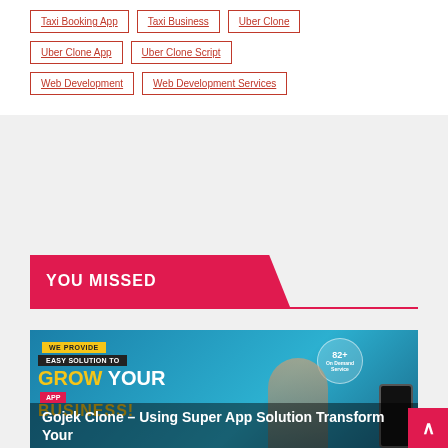Taxi Booking App
Taxi Business
Uber Clone
Uber Clone App
Uber Clone Script
Web Development
Web Development Services
YOU MISSED
[Figure (photo): Promotional banner for Gojek Clone super app solution featuring a woman pointing upward, text 'WE PROVIDE EASY SOLUTION TO GROW YOUR APP BUSINESS!' and '82+ On Demand Service', with a mobile phone mockup on the right side.]
Gojek Clone – Using Super App Solution Transform Your